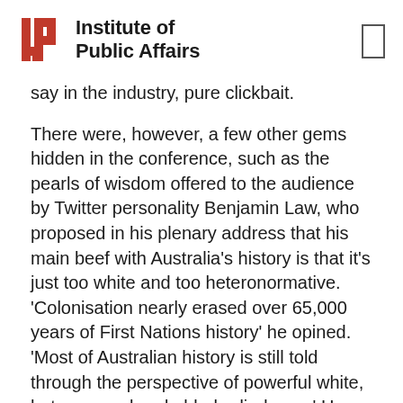Institute of Public Affairs
say in the industry, pure clickbait.
There were, however, a few other gems hidden in the conference, such as the pearls of wisdom offered to the audience by Twitter personality Benjamin Law, who proposed in his plenary address that his main beef with Australia's history is that it's just too white and too heteronormative. 'Colonisation nearly erased over 65,000 years of First Nations history' he opined. 'Most of Australian history is still told through the perspective of powerful white, heterosexual and able-bodied men.' He